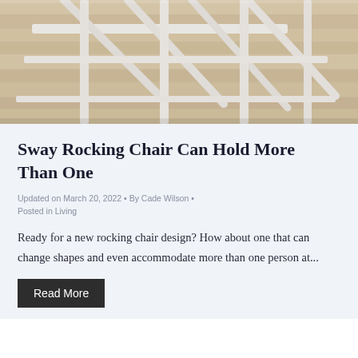[Figure (photo): Top portion of a white rocking chair frame photographed from above on a light wood floor background]
Sway Rocking Chair Can Hold More Than One
Updated on March 20, 2022 • By Cade Wilson • Posted in Living
Ready for a new rocking chair design? How about one that can change shapes and even accommodate more than one person at...
Read More